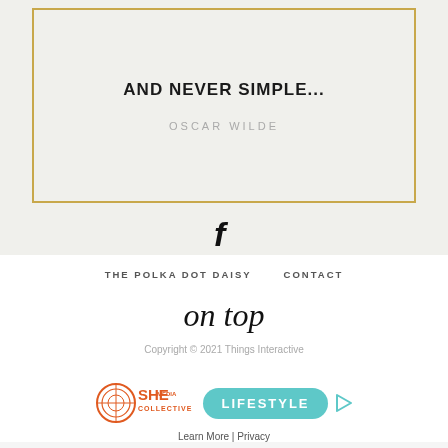AND NEVER SIMPLE...
OSCAR WILDE
[Figure (illustration): Facebook social media icon (lowercase f)]
THE POLKA DOT DAISY   CONTACT
on top
Copyright © 2021 Things Interactive
[Figure (logo): SHE Media Collective Lifestyle advertisement badge with teal pill button and play icon]
Learn More | Privacy